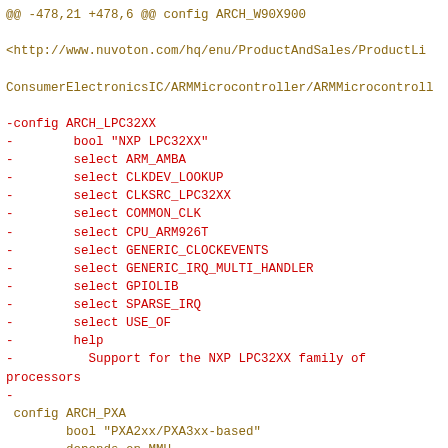@@ -478,21 +478,6 @@ config ARCH_W90X900

<http://www.nuvoton.com/hq/enu/ProductAndSales/ProductLi

ConsumerElectronicsIC/ARMMicrocontroller/ARMMicrocontroll

-config ARCH_LPC32XX
-        bool "NXP LPC32XX"
-        select ARM_AMBA
-        select CLKDEV_LOOKUP
-        select CLKSRC_LPC32XX
-        select COMMON_CLK
-        select CPU_ARM926T
-        select GENERIC_CLOCKEVENTS
-        select GENERIC_IRQ_MULTI_HANDLER
-        select GPIOLIB
-        select SPARSE_IRQ
-        select USE_OF
-        help
-          Support for the NXP LPC32XX family of processors
-
 config ARCH_PXA
        bool "PXA2xx/PXA3xx-based"
        depends on MMU
@@ -746,6 +731,8 @@ source "arch/arm/mach-keystone/Kconfig"

 source "arch/arm/mach-ks8695/Kconfig"